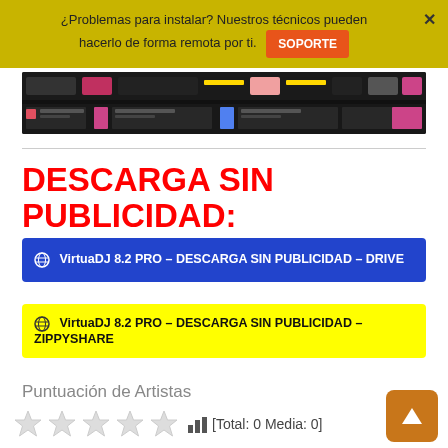¿Problemas para instalar? Nuestros técnicos pueden hacerlo de forma remota por ti. SOPORTE ×
[Figure (screenshot): Screenshot of VirtualDJ software interface showing a dark UI with music tracks]
DESCARGA SIN PUBLICIDAD:
🌐 VirtuaDJ 8.2 PRO – DESCARGA SIN PUBLICIDAD – DRIVE
🌐 VirtuaDJ 8.2 PRO – DESCARGA SIN PUBLICIDAD – ZIPPYSHARE
Puntuación de Artistas
★★★★★ [Total: 0 Media: 0]